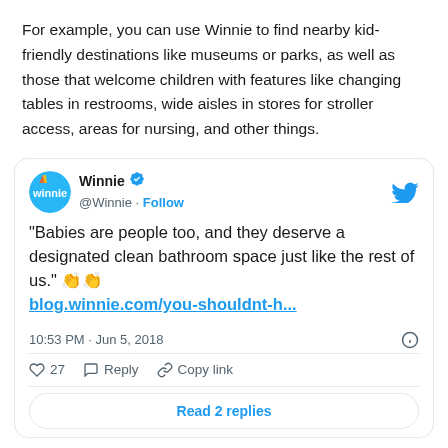For example, you can use Winnie to find nearby kid-friendly destinations like museums or parks, as well as those that welcome children with features like changing tables in restrooms, wide aisles in stores for stroller access, areas for nursing, and other things.
[Figure (screenshot): Embedded tweet from @Winnie: '"Babies are people too, and they deserve a designated clean bathroom space just like the rest of us." 👏👏 blog.winnie.com/you-shouldnt-h...' posted 10:53 PM · Jun 5, 2018 with 27 likes, Reply, Copy link, and Read 2 replies button.]